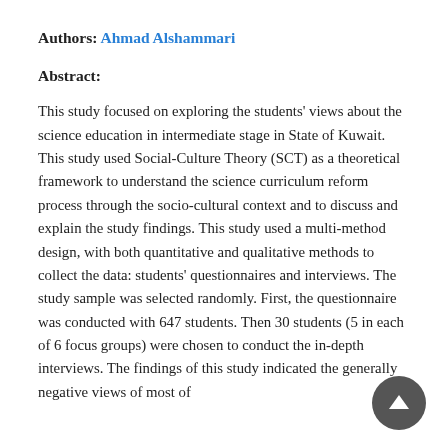Authors: Ahmad Alshammari
Abstract:
This study focused on exploring the students' views about the science education in intermediate stage in State of Kuwait. This study used Social-Culture Theory (SCT) as a theoretical framework to understand the science curriculum reform process through the socio-cultural context and to discuss and explain the study findings. This study used a multi-method design, with both quantitative and qualitative methods to collect the data: students' questionnaires and interviews. The study sample was selected randomly. First, the questionnaire was conducted with 647 students. Then 30 students (5 in each of 6 focus groups) were chosen to conduct the in-depth interviews. The findings of this study indicated the generally negative views of most of